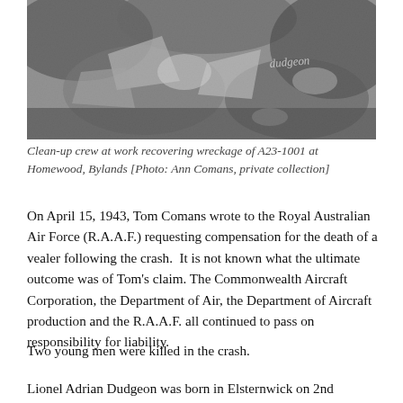[Figure (photo): Black and white photograph of a clean-up crew at work recovering wreckage of A23-1001 at Homewood, Bylands. Shows debris and wreckage on the ground with a cursive signature 'Dudgeon' visible in the upper right area.]
Clean-up crew at work recovering wreckage of A23-1001 at Homewood, Bylands [Photo: Ann Comans, private collection]
On April 15, 1943, Tom Comans wrote to the Royal Australian Air Force (R.A.A.F.) requesting compensation for the death of a vealer following the crash.  It is not known what the ultimate outcome was of Tom's claim. The Commonwealth Aircraft Corporation, the Department of Air, the Department of Aircraft production and the R.A.A.F. all continued to pass on responsibility for liability.
Two young men were killed in the crash.
Lionel Adrian Dudgeon was born in Elsternwick on 2nd